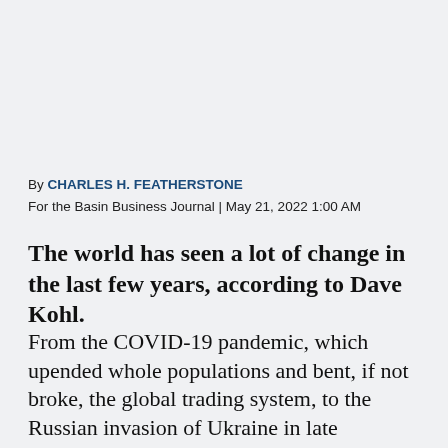By CHARLES H. FEATHERSTONE
For the Basin Business Journal | May 21, 2022 1:00 AM
The world has seen a lot of change in the last few years, according to Dave Kohl.
From the COVID-19 pandemic, which upended whole populations and bent, if not broke, the global trading system, to the Russian invasion of Ukraine in late February, which now looks to remake